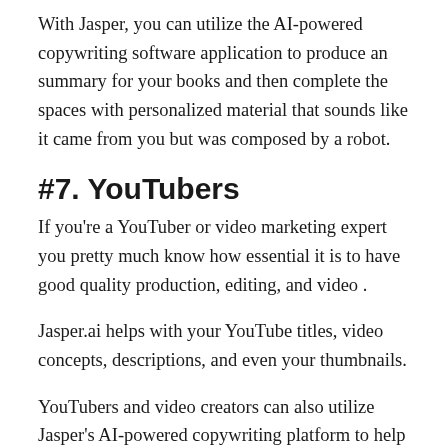With Jasper, you can utilize the AI-powered copywriting software application to produce an summary for your books and then complete the spaces with personalized material that sounds like it came from you but was composed by a robot.
#7. YouTubers
If you're a YouTuber or video marketing expert you pretty much know how essential it is to have good quality production, editing, and video .
Jasper.ai helps with your YouTube titles, video concepts, descriptions, and even your thumbnails.
YouTubers and video creators can also utilize Jasper's AI-powered copywriting platform to help with their